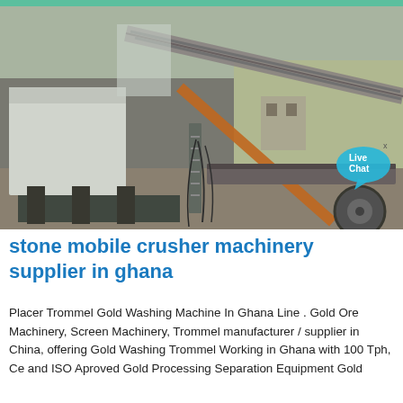[Figure (photo): Photograph of a large stone mobile crusher / mining machinery setup outdoors with conveyor belts, metal framework, ladders, and a tractor wheel visible. A 'Live Chat' speech bubble overlay appears in the bottom-right of the image.]
stone mobile crusher machinery supplier in ghana
Placer Trommel Gold Washing Machine In Ghana Line . Gold Ore Machinery, Screen Machinery, Trommel manufacturer / supplier in China, offering Gold Washing Trommel Working in Ghana with 100 Tph, Ce and ISO Aproved Gold Processing Separation Equipment Gold